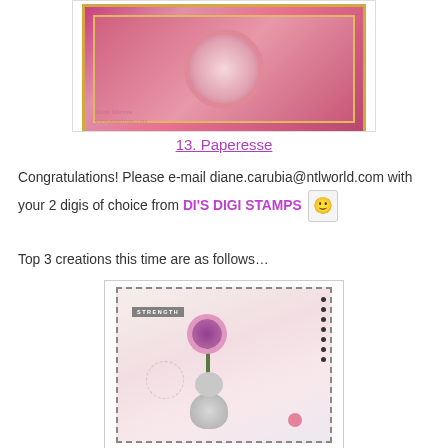[Figure (photo): Handmade greeting card with pink floral design, roses and decorative border, with watermark 'Shani Morrow www.paperesse.com']
13. Paperesse
Congratulations! Please e-mail diane.carubia@ntlworld.com with your 2 digis of choice from DI'S DIGI STAMPS 😊
Top 3 creations this time are as follows…
[Figure (photo): Handmade card with a cute panda/bear character holding flowers, pink background, 'STRENGTH' label, dashed border design]